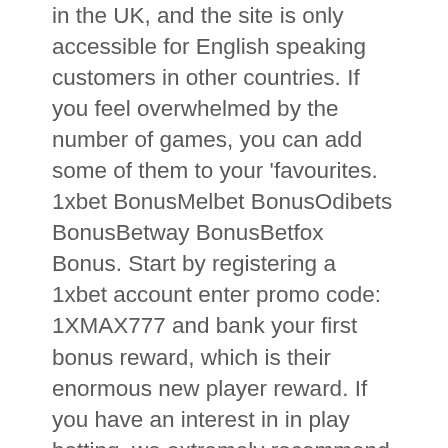in the UK, and the site is only accessible for English speaking customers in other countries. If you feel overwhelmed by the number of games, you can add some of them to your 'favourites. 1xbet BonusMelbet BonusOdibets BonusBetway BonusBetfox Bonus. Start by registering a 1xbet account enter promo code: 1XMAX777 and bank your first bonus reward, which is their enormous new player reward. If you have an interest in in play betting, we extremely recommend our ideas for thebest betting technique. The minimum amount that must be deposited to get a coupon is around EUR 5. Can you please help me to get my money back. This site uses cookies, read our policy. All the best,The 1xBet Support. These are the key terms and conditions that you need to understand before deciding to qualify for the bonus. This includes standard markets like total goals, match result, half time score, all the way to